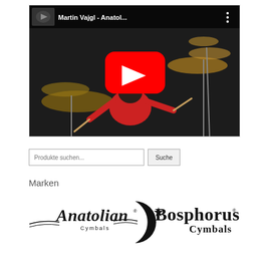[Figure (screenshot): YouTube video thumbnail showing Martin Vajgl playing Anatolian cymbals on a drum kit, with a red play button overlay and the title 'Martin Vajgl - Anatol...' in the top bar]
Produkte suchen...
Marken
[Figure (logo): Anatolian Cymbals logo in black script font with registered trademark symbol]
[Figure (logo): Bosphorus Cymbals logo with crescent moon and star graphic, black serif font]